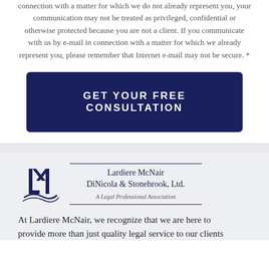connection with a matter for which we do not already represent you, your communication may not be treated as privileged, confidential or otherwise protected because you are not a client. If you communicate with us by e-mail in connection with a matter for which we already represent you, please remember that Internet e-mail may not be secure. *
GET YOUR FREE CONSULTATION
[Figure (logo): Lardiere McNair DiNicola & Stonebrook, Ltd. law firm logo with stylized LM monogram and firm name with horizontal rules]
At Lardiere McNair, we recognize that we are here to provide more than just quality legal service to our clients